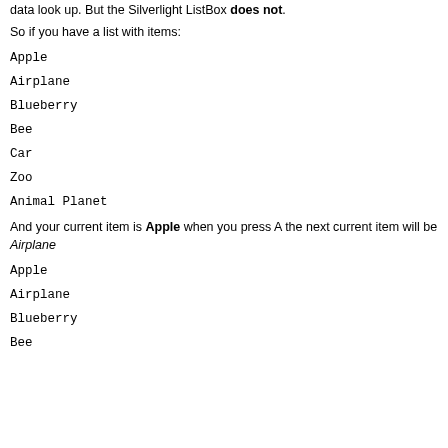data look up. But the Silverlight ListBox does not.
So if you have a list with items:
Apple
Airplane
Blueberry
Bee
Car
Zoo
Animal Planet
And your current item is Apple when you press A the next current item will be Airplane
Apple
Airplane
Blueberry
Bee